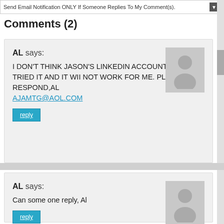Send Email Notification ONLY If Someone Replies To My Comment(s).
Comments (2)
AL says:
I DON'T THINK JASON'S LINKEDIN ACCOUNT IS FREE,I TRIED IT AND IT WII NOT WORK FOR ME. PLEASE RESPOND,AL
AJAMTG@AOL.COM
reply
AL says:
Can some one reply, Al
reply